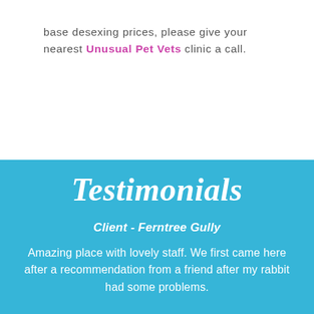base desexing prices, please give your nearest Unusual Pet Vets clinic a call.
Testimonials
Client - Ferntree Gully
Amazing place with lovely staff. We first came here after a recommendation from a friend after my rabbit had some problems.